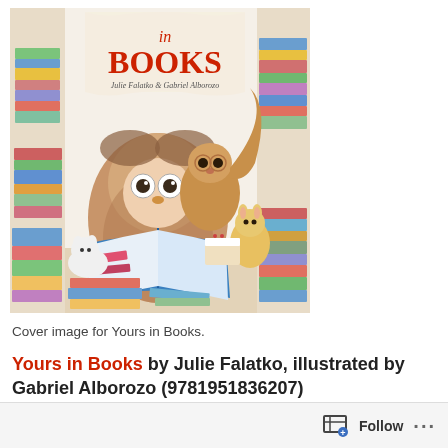[Figure (illustration): Book cover for 'Yours in Books' by Julie Falatko and Gabriel Alborozo. Shows cartoon owl and squirrel reading a blue book together, surrounded by colorful stacks of books in a cozy library setting. Title shown in red text 'BOOKS' with 'in' above it.]
Cover image for Yours in Books.
Yours in Books by Julie Falatko, illustrated by Gabriel Alborozo (9781951836207)
Follow ...